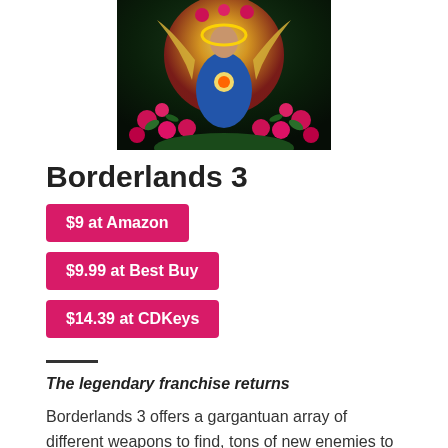[Figure (illustration): Borderlands 3 key art showing a figure surrounded by roses and flames with a glowing heart, colorful fantasy illustration]
Borderlands 3
$9 at Amazon
$9.99 at Best Buy
$14.39 at CDKeys
The legendary franchise returns
Borderlands 3 offers a gargantuan array of different weapons to find, tons of new enemies to battle, new Vault Hunters to control, and new worlds to explore. Are you